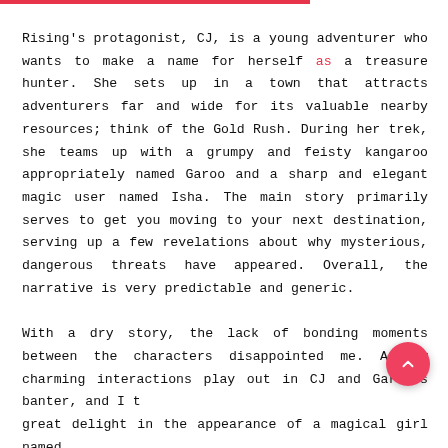Rising's protagonist, CJ, is a young adventurer who wants to make a name for herself as a treasure hunter. She sets up in a town that attracts adventurers far and wide for its valuable nearby resources; think of the Gold Rush. During her trek, she teams up with a grumpy and feisty kangaroo appropriately named Garoo and a sharp and elegant magic user named Isha. The main story primarily serves to get you moving to your next destination, serving up a few revelations about why mysterious, dangerous threats have appeared. Overall, the narrative is very predictable and generic.

With a dry story, the lack of bonding moments between the characters disappointed me. A few charming interactions play out in CJ and Garoo's banter, and I took great delight in the appearance of a magical girl named